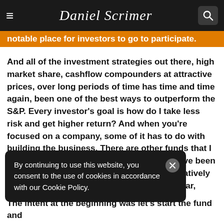Daniel Scrimer
notable place for investors to go to participate.
And all of the investment strategies out there, high market share, cashflow compounders at attractive prices, over long periods of time has time and time again, been one of the best ways to outperform the S&P. Every investor's goal is how do I take less risk and get higher return? And when you're focused on a company, some of it has to do with building the business. There are other funds that I am very interested about assembling, but I've been running this fund for two years. That's a relatively short period of time. Their performance so far, we're fortunate.
By continuing to use this website, you consent to the use of cookies in accordance with our Cookie Policy.
The intent at the beginning was let's start the fund and